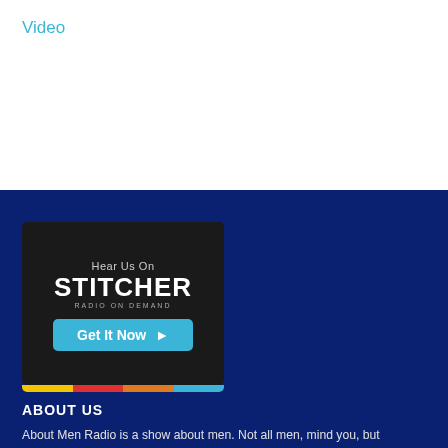Video
[Figure (logo): Stitcher Radio on Demand badge: dark background with 'Hear Us On', 'STITCHER', 'RADIO ON DEMAND', and a teal 'Get It Now ▶' button, with a colored bar at the bottom (yellow, red, orange, blue)]
ABOUT US
About Men Radio is a show about men. Not all men, mind you, but specifically about a group of lifelong friends coping with rapidly changing gender roles and how they interact with their partners, their kids, their co-workers and each other. It's funny, feisty, smart-assed and very, very real.